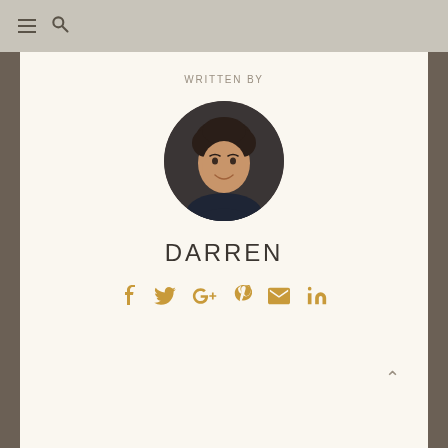Navigation bar with hamburger menu and search icon
WRITTEN BY
[Figure (photo): Circular headshot photo of Darren, a smiling man with curly hair wearing a dark shirt, against a dark background]
DARREN
[Figure (infographic): Row of social media icons in gold/amber color: Facebook, Twitter, Google+, Pinterest, Email, LinkedIn]